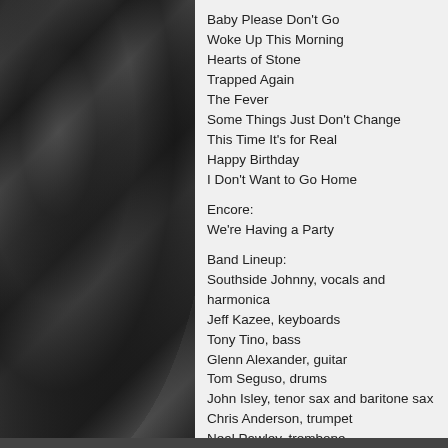[Figure (photo): Black and white photograph of a concert crowd with people raising their hands, blurred/grainy style.]
Baby Please Don't Go
Woke Up This Morning
Hearts of Stone
Trapped Again
The Fever
Some Things Just Don't Change
This Time It's for Real
Happy Birthday
I Don't Want to Go Home
Encore:
We're Having a Party
Band Lineup:
Southside Johnny, vocals and harmonica
Jeff Kazee, keyboards
Tony Tino, bass
Glenn Alexander, guitar
Tom Seguso, drums
John Isley, tenor sax and baritone sax
Chris Anderson, trumpet
Neal Pawley, trombone
Vern, keyboards on *